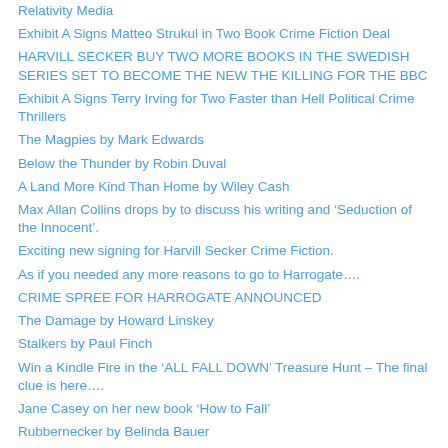Relativity Media
Exhibit A Signs Matteo Strukul in Two Book Crime Fiction Deal
HARVILL SECKER BUY TWO MORE BOOKS IN THE SWEDISH SERIES SET TO BECOME THE NEW THE KILLING FOR THE BBC
Exhibit A Signs Terry Irving for Two Faster than Hell Political Crime Thrillers
The Magpies by Mark Edwards
Below the Thunder by Robin Duval
A Land More Kind Than Home by Wiley Cash
Max Allan Collins drops by to discuss his writing and ‘Seduction of the Innocent’.
Exciting new signing for Harvill Secker Crime Fiction.
As if you needed any more reasons to go to Harrogate….
CRIME SPREE FOR HARROGATE ANNOUNCED
The Damage by Howard Linskey
Stalkers by Paul Finch
Win a Kindle Fire in the ‘ALL FALL DOWN’ Treasure Hunt – The final clue is here….
Jane Casey on her new book ‘How to Fall’
Rubbernecker by Belinda Bauer